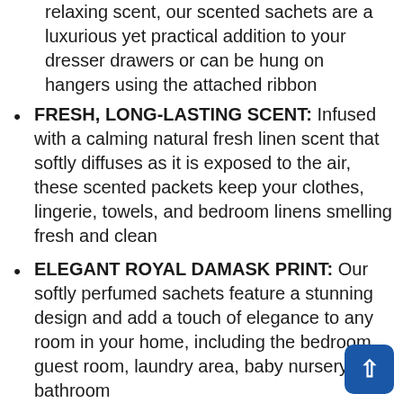relaxing scent, our scented sachets are a luxurious yet practical addition to your dresser drawers or can be hung on hangers using the attached ribbon
FRESH, LONG-LASTING SCENT: Infused with a calming natural fresh linen scent that softly diffuses as it is exposed to the air, these scented packets keep your clothes, lingerie, towels, and bedroom linens smelling fresh and clean
ELEGANT ROYAL DAMASK PRINT: Our softly perfumed sachets feature a stunning design and add a touch of elegance to any room in your home, including the bedroom, guest room, laundry area, baby nursery or bathroom
INCLUDES 4 SACHETS PER BOX: Each box